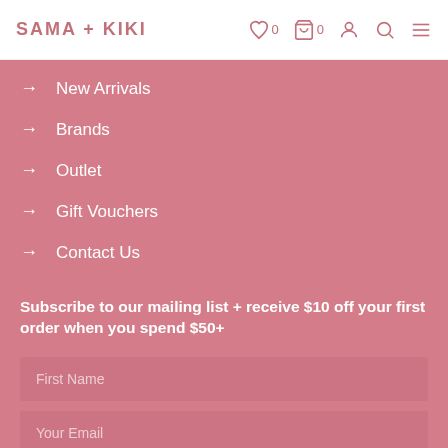SAMA + KIKI — header with logo and icons (heart 0, cart 0, account, search, menu)
New Arrivals
Brands
Outlet
Gift Vouchers
Contact Us
Subscribe to our mailing list + receive $10 off your first order when you spend $50+
First Name (input field)
Your Email (input field)
SUBSCRIBE (button)